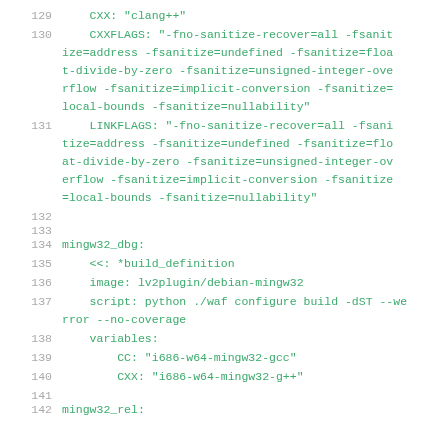129     CXX: "clang++"
130     CXXFLAGS: "-fno-sanitize-recover=all -fsanitize=address -fsanitize=undefined -fsanitize=float-divide-by-zero -fsanitize=unsigned-integer-overflow -fsanitize=implicit-conversion -fsanitize=local-bounds -fsanitize=nullability"
131     LINKFLAGS: "-fno-sanitize-recover=all -fsanitize=address -fsanitize=undefined -fsanitize=float-divide-by-zero -fsanitize=unsigned-integer-overflow -fsanitize=implicit-conversion -fsanitize=local-bounds -fsanitize=nullability"
132
133
134 mingw32_dbg:
135     <<: *build_definition
136     image: lv2plugin/debian-mingw32
137     script: python ./waf configure build -dST --werror --no-coverage
138     variables:
139         CC: "i686-w64-mingw32-gcc"
140         CXX: "i686-w64-mingw32-g++"
141
142 mingw32_rel: